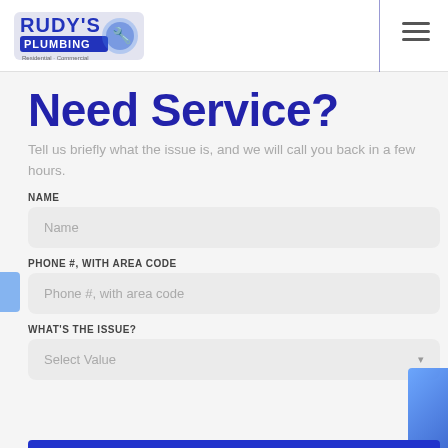[Figure (logo): Rudy's Plumbing logo with blue text and plumber mascot]
Need Service?
Tell us briefly what the issue is, and we will call you back in a few hours.
NAME
Name
PHONE #, WITH AREA CODE
Phone #, with area code
WHAT'S THE ISSUE?
Select Value